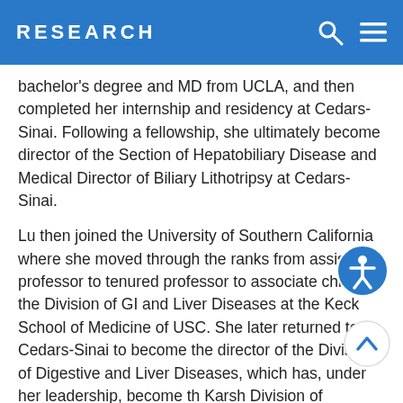RESEARCH
bachelor's degree and MD from UCLA, and then completed her internship and residency at Cedars-Sinai. Following a fellowship, she ultimately become director of the Section of Hepatobiliary Disease and Medical Director of Biliary Lithotripsy at Cedars-Sinai.
Lu then joined the University of Southern California where she moved through the ranks from assistant professor to tenured professor to associate chief of the Division of GI and Liver Diseases at the Keck School of Medicine of USC. She later returned to Cedars-Sinai to become the director of the Division of Digestive and Liver Diseases, which has, under her leadership, become the Karsh Division of Gastroenterology and Hepatology. She also serves as vice chair of Basic Science and Translational Research in the Department of Medicine.